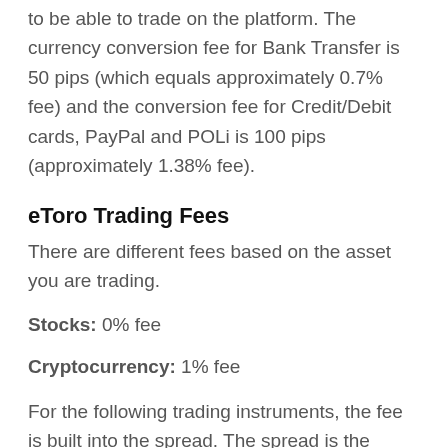to be able to trade on the platform. The currency conversion fee for Bank Transfer is 50 pips (which equals approximately 0.7% fee) and the conversion fee for Credit/Debit cards, PayPal and POLi is 100 pips (approximately 1.38% fee).
eToro Trading Fees
There are different fees based on the asset you are trading.
Stocks: 0% fee
Cryptocurrency: 1% fee
For the following trading instruments, the fee is built into the spread. The spread is the